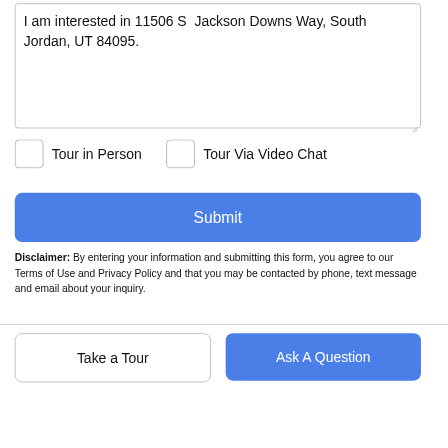I am interested in 11506 S  Jackson Downs Way, South Jordan, UT 84095.
Tour in Person
Tour Via Video Chat
Submit
Disclaimer: By entering your information and submitting this form, you agree to our Terms of Use and Privacy Policy and that you may be contacted by phone, text message and email about your inquiry.
Take a Tour
Ask A Question